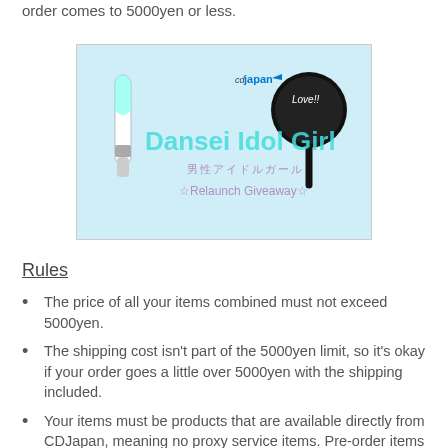order comes to 5000yen or less.
[Figure (illustration): CDJapan Dansei Idol Girl Relaunch Giveaway banner image with light blue background, a glowstick, a paddle with 'Love!!' written on it, and Japanese text 男性アイドルガール ☆Relaunch Giveaway☆]
Rules
The price of all your items combined must not exceed 5000yen.
The shipping cost isn't part of the 5000yen limit, so it's okay if your order goes a little over 5000yen with the shipping included.
Your items must be products that are available directly from CDJapan, meaning no proxy service items. Pre-order items are okay as long as you don't mind waiting longer for them to be shipped out.